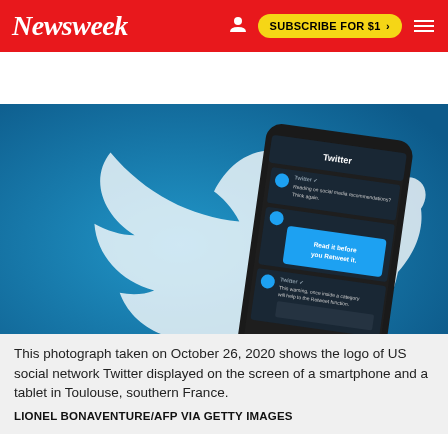Newsweek  SUBSCRIBE FOR $1 >
[Figure (photo): Photograph showing a smartphone displaying the Twitter app interface, held up against a blue background featuring the large white Twitter bird logo. The phone screen shows Twitter feed with a prompt 'Read it before you Retweet it.' Taken October 26, 2020 in Toulouse, southern France.]
This photograph taken on October 26, 2020 shows the logo of US social network Twitter displayed on the screen of a smartphone and a tablet in Toulouse, southern France.
LIONEL BONAVENTURE/AFP VIA GETTY IMAGES